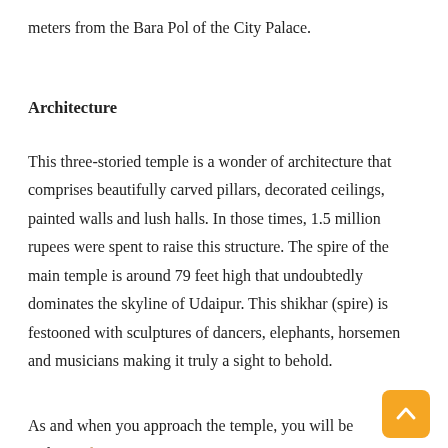meters from the Bara Pol of the City Palace.
Architecture
This three-storied temple is a wonder of architecture that comprises beautifully carved pillars, decorated ceilings, painted walls and lush halls. In those times, 1.5 million rupees were spent to raise this structure. The spire of the main temple is around 79 feet high that undoubtedly dominates the skyline of Udaipur. This shikhar (spire) is festooned with sculptures of dancers, elephants, horsemen and musicians making it truly a sight to behold.
As and when you approach the temple, you will be welcomed